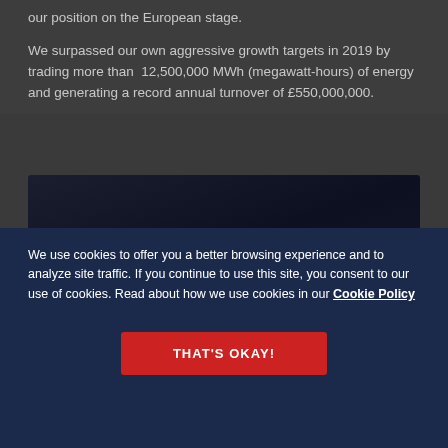our position on the European stage.
We surpassed our own aggressive growth targets in 2019 by trading more than  12,500,000 MWh (megawatt-hours) of energy and generating a record annual turnover of £550,000,000.
[Figure (photo): Dark navy/black image area, partially visible]
We use cookies to offer you a better browsing experience and to analyze site traffic. If you continue to use this site, you consent to our use of cookies. Read about how we use cookies in our Cookie Policy
THAT'S OKAY!